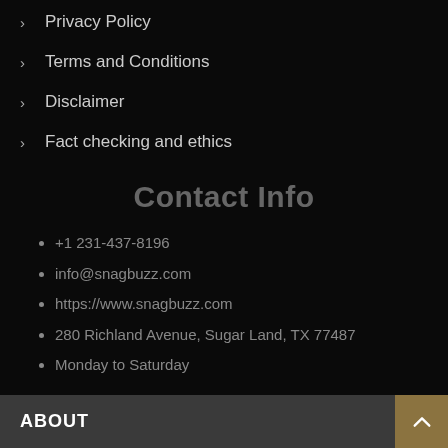> Privacy Policy
> Terms and Conditions
> Disclaimer
> Fact checking and ethics
Contact Info
+1 231-437-8196
info@snagbuzz.com
https://www.snagbuzz.com
280 Richland Avenue, Sugar Land, TX 77487
Monday to Saturday
ABOUT